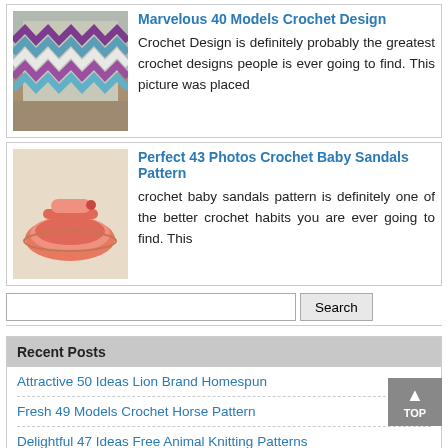[Figure (photo): Crochet blanket with chevron pattern in purple, blue, white colors on a chair]
Marvelous 40 Models Crochet Design
Crochet Design is definitely probably the greatest crochet designs people is ever going to find. This picture was placed
[Figure (photo): Pink crochet baby sandals/shoes on beige background]
Perfect 43 Photos Crochet Baby Sandals Pattern
crochet baby sandals pattern is definitely one of the better crochet habits you are ever going to find. This
Recent Posts
Attractive 50 Ideas Lion Brand Homespun
Fresh 49 Models Crochet Horse Pattern
Delightful 47 Ideas Free Animal Knitting Patterns
Charming 50 Pics Crochet Stocking Pattern
Awesome 45 Ideas Cool Crochet Patterns
Incredible 49 Ideas Unicorn Knitting Pattern
New 48 Pics Crochet Elephant Lovey Pattern